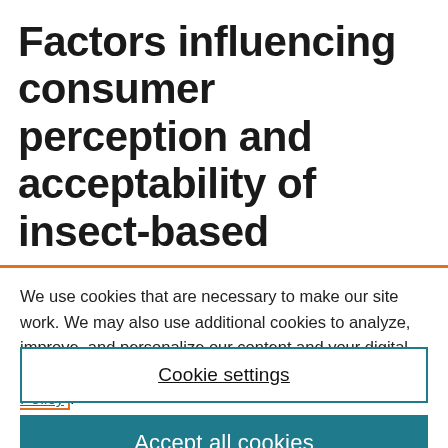Factors influencing consumer perception and acceptability of insect-based
We use cookies that are necessary to make our site work. We may also use additional cookies to analyze, improve, and personalize our content and your digital experience. For more information, see our Cookie Policy.
Cookie settings
Accept all cookies